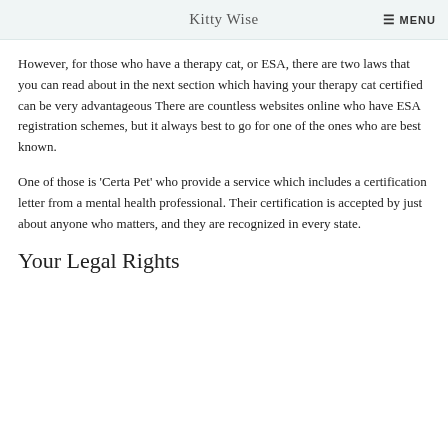Kitty Wise   MENU
However, for those who have a therapy cat, or ESA, there are two laws that you can read about in the next section which having your therapy cat certified can be very advantageous There are countless websites online who have ESA registration schemes, but it always best to go for one of the ones who are best known.
One of those is ‘Certa Pet’ who provide a service which includes a certification letter from a mental health professional. Their certification is accepted by just about anyone who matters, and they are recognized in every state.
Your Legal Rights